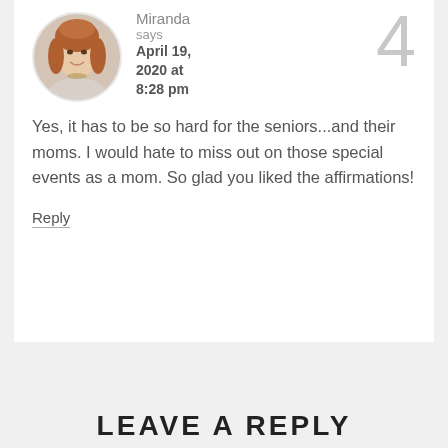[Figure (photo): Circular avatar photo of a woman with long reddish-brown hair and a necklace, smiling.]
Miranda
says
April 19, 2020 at 8:28 pm
4
Yes, it has to be so hard for the seniors...and their moms. I would hate to miss out on those special events as a mom. So glad you liked the affirmations!
Reply
LEAVE A REPLY